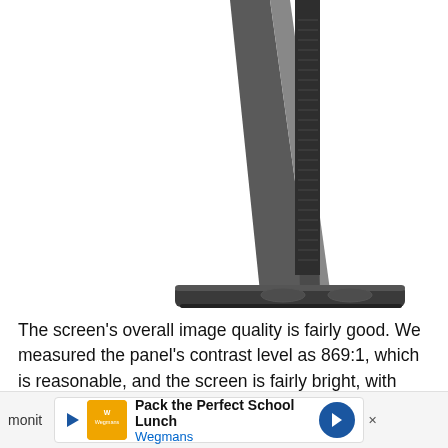[Figure (photo): Close-up photo of the back of a monitor stand/base, showing a dark gray metallic stand arm and rectangular base on a white background.]
The screen's overall image quality is fairly good. We measured the panel's contrast level as 869:1, which is reasonable, and the screen is fairly bright, with white levels of 278.4cd/m2. Our colour calibrator showed the screen as being able to show 94.6% of the sRGB colour gamut; this is a fair result, but our solid colour test images looked a shade or two paler than when viewed on a monit
[Figure (other): Advertisement banner for Wegmans: 'Pack the Perfect School Lunch' with Wegmans logo and navigation arrow.]